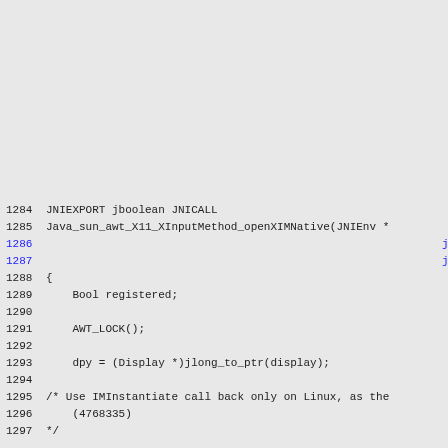1284 JNIEXPORT jboolean JNICALL
1285 Java_sun_awt_X11_XInputMethod_openXIMNative(JNIEnv *
1286                                                                jobject
1287                                                                jlong d
1288 {
1289     Bool registered;
1290
1291     AWT_LOCK();
1292
1293     dpy = (Display *)jlong_to_ptr(display);
1294
1295 /* Use IMInstantiate call back only on Linux, as the
1296     (4768335)
1297 */